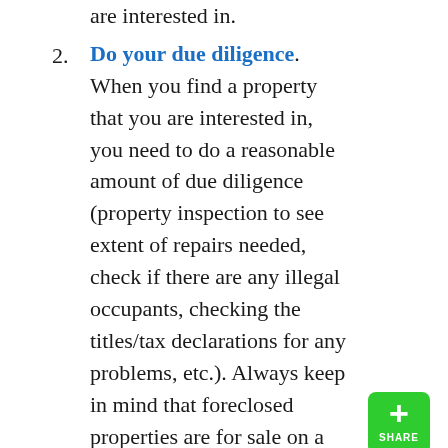the auction and identify properties you are interested in.
Do your due diligence. When you find a property that you are interested in, you need to do a reasonable amount of due diligence (property inspection to see extent of repairs needed, check if there are any illegal occupants, checking the titles/tax declarations for any problems, etc.). Always keep in mind that foreclosed properties are for sale on a "As-is, where-is" basis.
Secure forms you need to fill-out